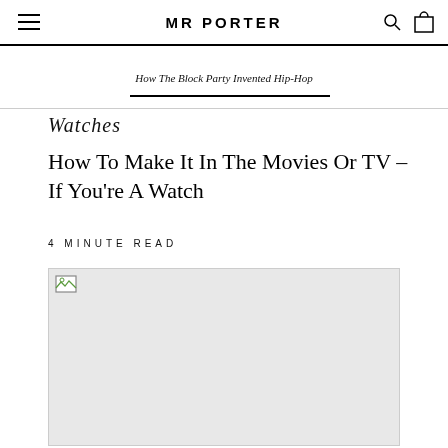MR PORTER
How The Block Party Invented Hip-Hop
Watches
How To Make It In The Movies Or TV – If You're A Watch
4 MINUTE READ
[Figure (photo): Article hero image placeholder (broken/loading image) with light grey background]